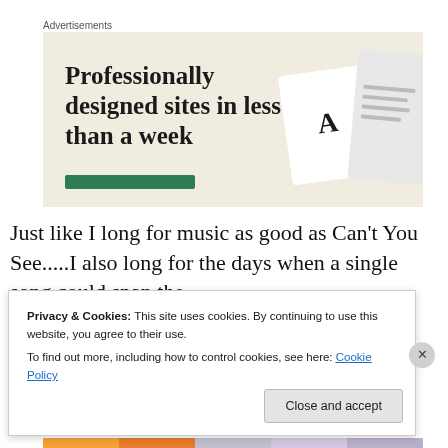Advertisements
[Figure (illustration): Advertisement banner with beige/cream background showing text 'Professionally designed sites in less than a week' with a green button bar and decorative card/device graphics on the right side.]
Just like I long for music as good as Can't You See.....I also long for the days when a single song could span the
Privacy & Cookies: This site uses cookies. By continuing to use this website, you agree to their use.
To find out more, including how to control cookies, see here: Cookie Policy
Close and accept